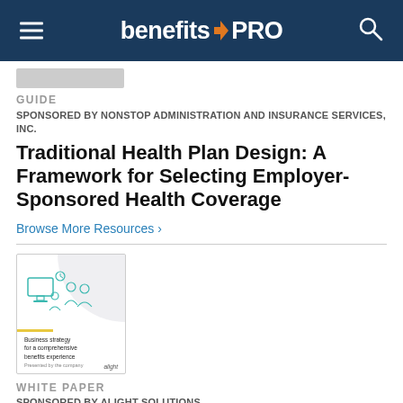benefitsPRO
GUIDE
SPONSORED BY NONSTOP ADMINISTRATION AND INSURANCE SERVICES, INC.
Traditional Health Plan Design: A Framework for Selecting Employer-Sponsored Health Coverage
Browse More Resources ›
[Figure (illustration): White paper cover thumbnail showing business strategy illustration with people figures, a yellow accent line, and text 'Business strategy for a comprehensive benefits experience'. Alight logo bottom right.]
WHITE PAPER
SPONSORED BY ALIGHT SOLUTIONS
Business Strategy for a